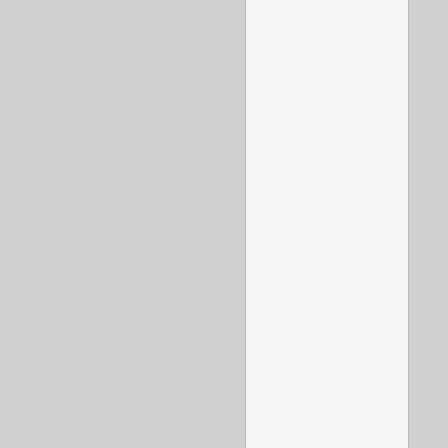er advanced configuration as well that would make the new extensions more integrated with Architect. Doe